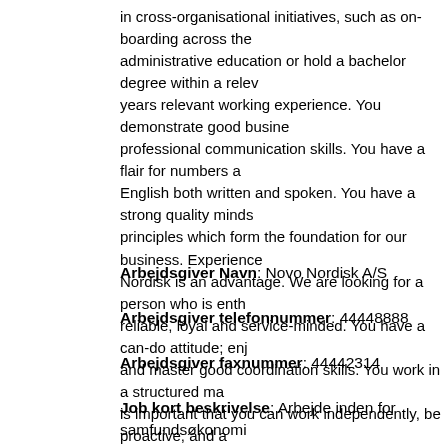in cross-organisational initiatives, such as on-boarding across the administrative education or hold a bachelor degree within a relevant years relevant working experience. You demonstrate good business professional communication skills. You have a flair for numbers and English both written and spoken. You have a strong quality mindset principles which form the foundation for our business. Experience Nordisk is an advantage. We are looking for a person who is enthusiastic, reliable, loyal and service-minded. You have a can-do attitude; enjoy and master good coordination skills. You work in a structured manner, it is important that you can work independently, be proactive, and address challenges that keep coming up in a busy environment. It is not required in English. At Novo Nordisk, we strive for excellence. As a world leader player in haemostasis management, growth hormone therapy and offer our employees opportunities for continuous growth. Contact Jane Karina Nielsen on +45 3079 8795 or Kenneth Petersen February 2016.
Arbejdsgiver Navn: Novo Nordisk A/S
Arbejdsgiver telefonnummer: 44448888
Arbejdsgiver faxnummer: 44442314
Job kort beskrivelse: Arbejde inden for samfundsøkonomi